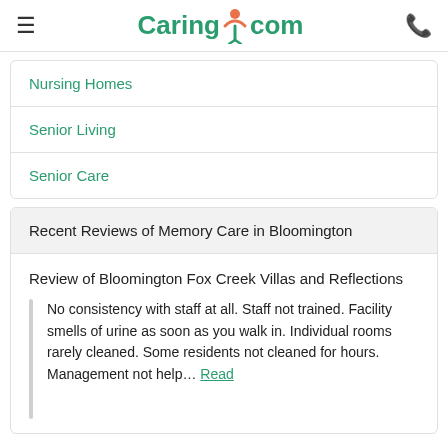≡  Caring.com  📞
Nursing Homes
Senior Living
Senior Care
Recent Reviews of Memory Care in Bloomington
Review of Bloomington Fox Creek Villas and Reflections
No consistency with staff at all. Staff not trained. Facility smells of urine as soon as you walk in. Individual rooms rarely cleaned. Some residents not cleaned for hours. Management not help... Read